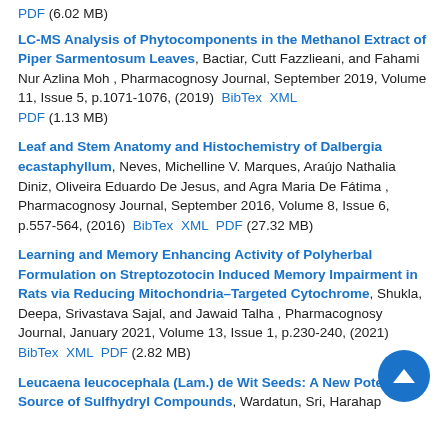PDF (6.02 MB)
LC-MS Analysis of Phytocomponents in the Methanol Extract of Piper Sarmentosum Leaves, Bactiar, Cutt Fazzlieani, and Fahami Nur Azlina Moh , Pharmacognosy Journal, September 2019, Volume 11, Issue 5, p.1071-1076, (2019)  BibTex  XML  PDF (1.13 MB)
Leaf and Stem Anatomy and Histochemistry of Dalbergia ecastaphyllum, Neves, Michelline V. Marques, Araújo Nathalia Diniz, Oliveira Eduardo De Jesus, and Agra Maria De Fátima , Pharmacognosy Journal, September 2016, Volume 8, Issue 6, p.557-564, (2016)  BibTex  XML  PDF (27.32 MB)
Learning and Memory Enhancing Activity of Polyherbal Formulation on Streptozotocin Induced Memory Impairment in Rats via Reducing Mitochondria–Targeted Cytochrome, Shukla, Deepa, Srivastava Sajal, and Jawaid Talha , Pharmacognosy Journal, January 2021, Volume 13, Issue 1, p.230-240, (2021)  BibTex  XML  PDF (2.82 MB)
Leucaena leucocephala (Lam.) de Wit Seeds: A New Potential Source of Sulfhydryl Compounds, Wardatun, Sri, Harahap